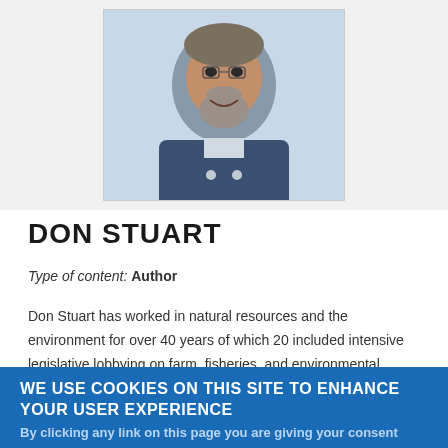[Figure (photo): Portrait photo of Don Stuart, a middle-aged man with gray beard wearing a blue vest, smiling against a light background]
DON STUART
Type of content: Author
Don Stuart has worked in natural resources and the environment for over 40 years of which 20 included intensive legislative lobbying on farm, fisheries, and environmental policy. He was the Pacific Northwest Regional Director of
WE USE COOKIES ON THIS SITE TO ENHANCE YOUR USER EXPERIENCE
By clicking any link on this page you are giving your consent